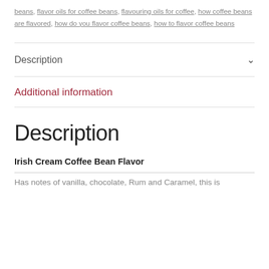beans, flavor oils for coffee beans, flavouring oils for coffee, how coffee beans are flavored, how do you flavor coffee beans, how to flavor coffee beans
Description
Additional information
Description
Irish Cream Coffee Bean Flavor
Has notes of vanilla, chocolate, Rum and Caramel, this is